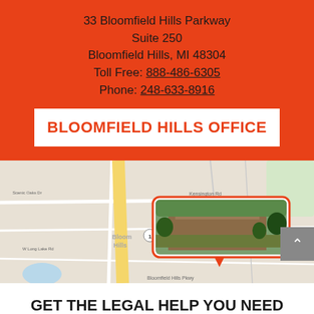33 Bloomfield Hills Parkway
Suite 250
Bloomfield Hills, MI 48304
Toll Free: 888-486-6305
Phone: 248-633-8916
BLOOMFIELD HILLS OFFICE
[Figure (map): Google Maps view showing the location of the Bloomfield Hills office at 33 Bloomfield Hills Parkway, with a map pin popup showing a photo of the office building]
GET THE LEGAL HELP YOU NEED
CONTACT STERLING EMPLOYMENT LAW